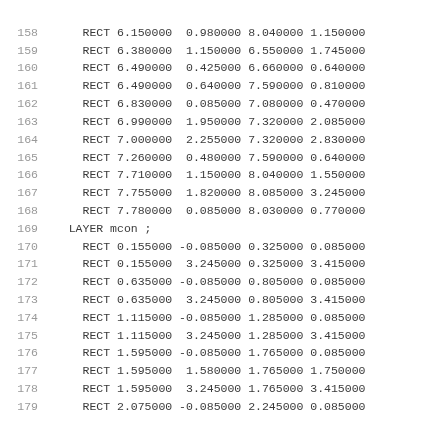158    RECT 6.150000  0.980000 8.040000 1.150000
159    RECT 6.380000  1.150000 6.550000 1.745000
160    RECT 6.490000  0.425000 6.660000 0.640000
161    RECT 6.490000  0.640000 7.590000 0.810000
162    RECT 6.830000  0.085000 7.080000 0.470000
163    RECT 6.990000  1.950000 7.320000 2.085000
164    RECT 7.000000  2.255000 7.320000 2.830000
165    RECT 7.260000  0.480000 7.590000 0.640000
166    RECT 7.710000  1.150000 8.040000 1.550000
167    RECT 7.755000  1.820000 8.085000 3.245000
168    RECT 7.780000  0.085000 8.030000 0.770000
169    LAYER mcon ;
170    RECT 0.155000 -0.085000 0.325000 0.085000
171    RECT 0.155000  3.245000 0.325000 3.415000
172    RECT 0.635000 -0.085000 0.805000 0.085000
173    RECT 0.635000  3.245000 0.805000 3.415000
174    RECT 1.115000 -0.085000 1.285000 0.085000
175    RECT 1.115000  3.245000 1.285000 3.415000
176    RECT 1.595000 -0.085000 1.765000 0.085000
177    RECT 1.595000  1.580000 1.765000 1.750000
178    RECT 1.595000  3.245000 1.765000 3.415000
179    RECT 2.075000 -0.085000 2.245000 0.085000